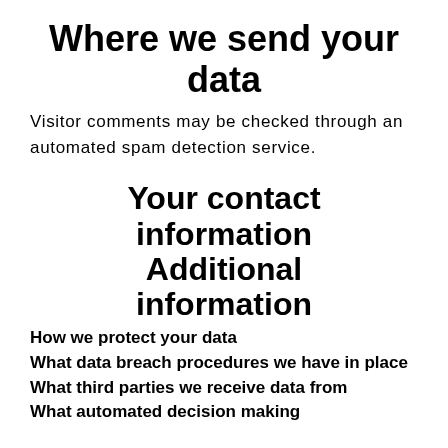Where we send your data
Visitor comments may be checked through an automated spam detection service.
Your contact information Additional information
How we protect your data
What data breach procedures we have in place
What third parties we receive data from
What automated decision making